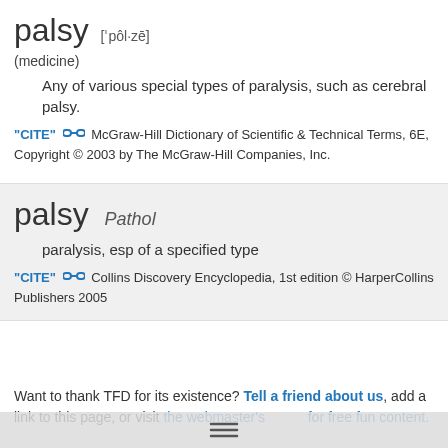palsy ['pôl·zē]
(medicine)
Any of various special types of paralysis, such as cerebral palsy.
"CITE" [link icon] McGraw-Hill Dictionary of Scientific & Technical Terms, 6E, Copyright © 2003 by The McGraw-Hill Companies, Inc.
palsy Pathol
paralysis, esp of a specified type
"CITE" [link icon] Collins Discovery Encyclopedia, 1st edition © HarperCollins Publishers 2005
Want to thank TFD for its existence? Tell a friend about us, add a link to this page, or visit the webmaster's for free fun content.